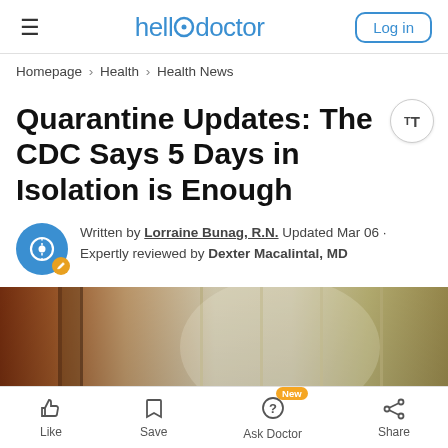hellodoctor | Log in
Homepage > Health > Health News
Quarantine Updates: The CDC Says 5 Days in Isolation is Enough
Written by Lorraine Bunag, R.N. Updated Mar 06 · Expertly reviewed by Dexter Macalintal, MD
[Figure (photo): Blurred photo of a window with curtains, warm brown tones on the left and light beige/gray tones in the center and right]
Like  Save  Ask Doctor (New)  Share